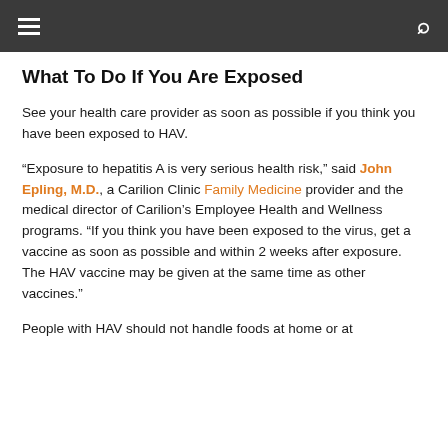navigation bar with hamburger menu and search icon
What To Do If You Are Exposed
See your health care provider as soon as possible if you think you have been exposed to HAV.
“Exposure to hepatitis A is very serious health risk,” said John Epling, M.D., a Carilion Clinic Family Medicine provider and the medical director of Carilion’s Employee Health and Wellness programs. “If you think you have been exposed to the virus, get a vaccine as soon as possible and within 2 weeks after exposure. The HAV vaccine may be given at the same time as other vaccines.”
People with HAV should not handle foods at home or at